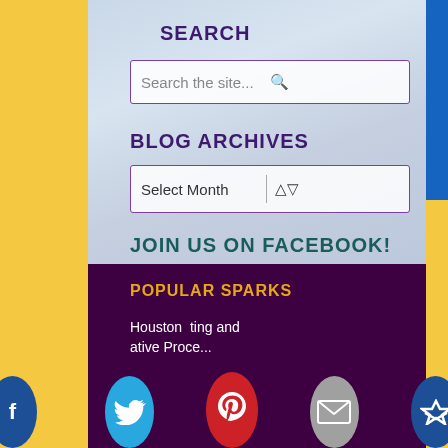SEARCH
Search the site...
BLOG ARCHIVES
Select Month
JOIN US ON FACEBOOK!
POPULAR SPARKS
Houston ting and ative Proce...